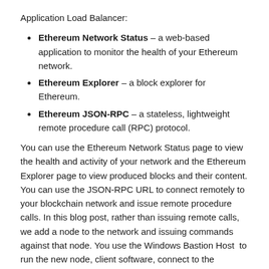Application Load Balancer:
Ethereum Network Status – a web-based application to monitor the health of your Ethereum network.
Ethereum Explorer – a block explorer for Ethereum.
Ethereum JSON-RPC – a stateless, lightweight remote procedure call (RPC) protocol.
You can use the Ethereum Network Status page to view the health and activity of your network and the Ethereum Explorer page to view produced blocks and their content. You can use the JSON-RPC URL to connect remotely to your blockchain network and issue remote procedure calls. In this blog post, rather than issuing remote calls, we add a node to the network and issuing commands against that node. You use the Windows Bastion Host  to run the new node, client software, connect to the blockchain and deploy a smart contract.
The following provided CloudFormation templates can assist you with getting your Private Ethereum Network deployed with preconfigured defaults and also the necessary software to interact with your private blockchain.